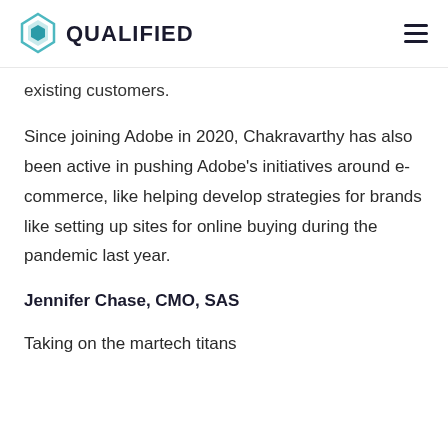QUALIFIED
existing customers.
Since joining Adobe in 2020, Chakravarthy has also been active in pushing Adobe's initiatives around e-commerce, like helping develop strategies for brands like setting up sites for online buying during the pandemic last year.
Jennifer Chase, CMO, SAS
Taking on the martech titans